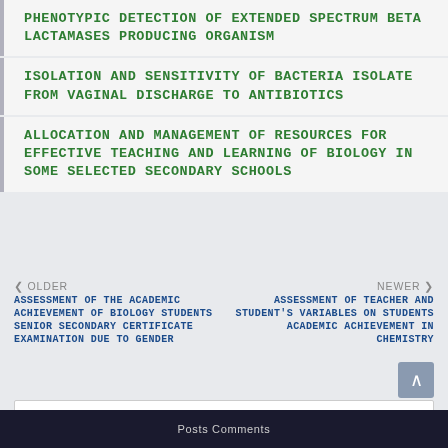PHENOTYPIC DETECTION OF EXTENDED SPECTRUM BETA LACTAMASES PRODUCING ORGANISM
ISOLATION AND SENSITIVITY OF BACTERIA ISOLATE FROM VAGINAL DISCHARGE TO ANTIBIOTICS
ALLOCATION AND MANAGEMENT OF RESOURCES FOR EFFECTIVE TEACHING AND LEARNING OF BIOLOGY IN SOME SELECTED SECONDARY SCHOOLS
< OLDER
ASSESSMENT OF THE ACADEMIC ACHIEVEMENT OF BIOLOGY STUDENTS SENIOR SECONDARY CERTIFICATE EXAMINATION DUE TO GENDER
NEWER >
ASSESSMENT OF TEACHER AND STUDENT'S VARIABLES ON STUDENTS ACADEMIC ACHIEVEMENT IN CHEMISTRY